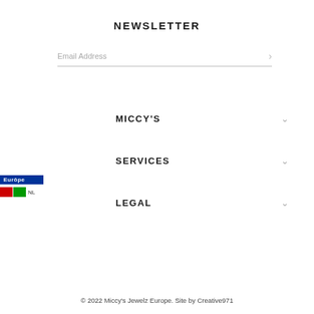NEWSLETTER
Email Address
MICCY'S
SERVICES
LEGAL
[Figure (illustration): Country flag badges: blue EU/Europe flag badge and red/green NL flag badge]
© 2022 Miccy's Jewelz Europe. Site by Creative971